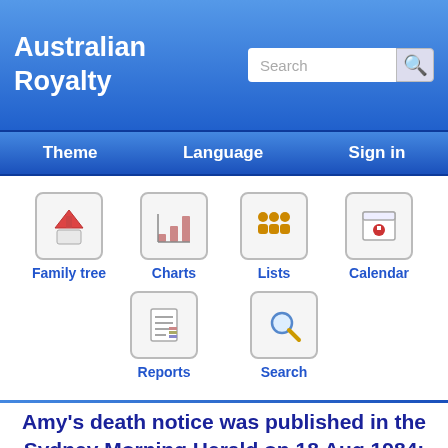Australian Royalty
[Figure (screenshot): Navigation menu with icons: Family tree, Charts, Lists, Calendar, Reports, Search]
Amy's death notice was published in the Sydney Morning Herald on 18 Aug 1984: Amy New late of Concor...